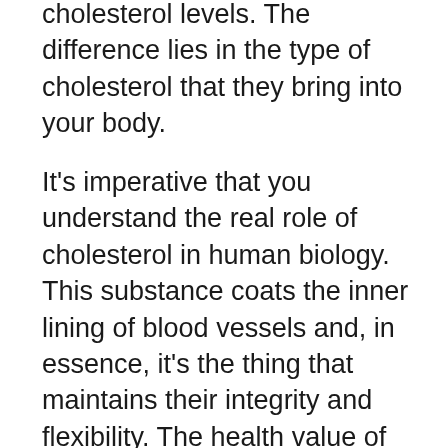as they are fat, they also increase your cholesterol levels. The difference lies in the type of cholesterol that they bring into your body.
It's imperative that you understand the real role of cholesterol in human biology. This substance coats the inner lining of blood vessels and, in essence, it's the thing that maintains their integrity and flexibility. The health value of nuts comes from the fact that the type of cholesterol they contain promotes this specific function.
The other kind, called LDL or 'bad' cholesterol, is harder. This means that it makes the vessels stiff and contributes to their eventual clogging. This unhealthy residue, accumulated over the years of poor dietary choices, is one of the main risk factors for developing coronary heart disease.